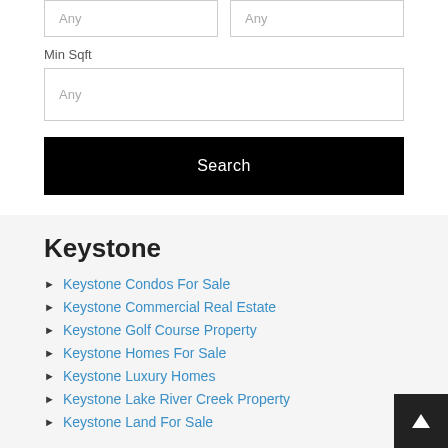Any (input box, top left)
Any (input box, top right)
Min Sqft
Any (input box, full width)
Search
Keystone
Keystone Condos For Sale
Keystone Commercial Real Estate
Keystone Golf Course Property
Keystone Homes For Sale
Keystone Luxury Homes
Keystone Lake River Creek Property
Keystone Land For Sale